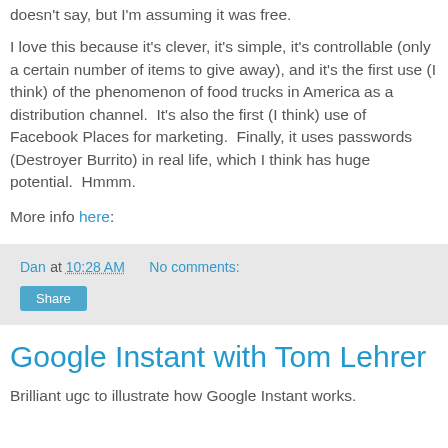doesn't say, but I'm assuming it was free.
I love this because it's clever, it's simple, it's controllable (only a certain number of items to give away), and it's the first use (I think) of the phenomenon of food trucks in America as a distribution channel.  It's also the first (I think) use of Facebook Places for marketing.  Finally, it uses passwords (Destroyer Burrito) in real life, which I think has huge potential.  Hmmm.
More info here:
Dan at 10:28 AM    No comments:
Share
Google Instant with Tom Lehrer
Brilliant ugc to illustrate how Google Instant works.